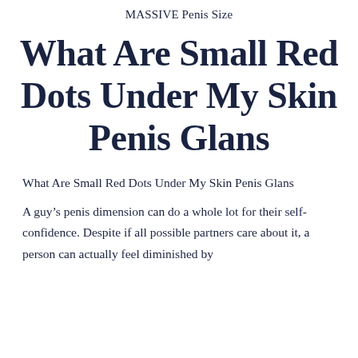MASSIVE Penis Size
What Are Small Red Dots Under My Skin Penis Glans
What Are Small Red Dots Under My Skin Penis Glans
A guy’s penis dimension can do a whole lot for their self-confidence. Despite if all possible partners care about it, a person can actually feel diminished by